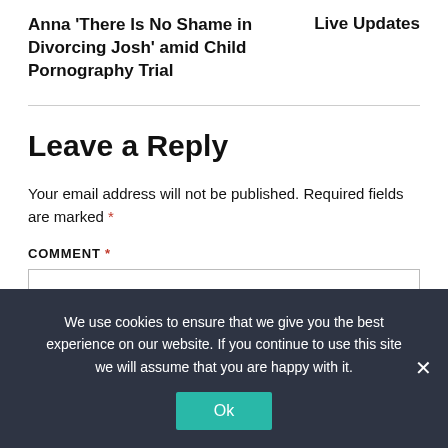Anna 'There Is No Shame in Divorcing Josh' amid Child Pornography Trial
Live Updates
Leave a Reply
Your email address will not be published. Required fields are marked *
COMMENT *
We use cookies to ensure that we give you the best experience on our website. If you continue to use this site we will assume that you are happy with it.